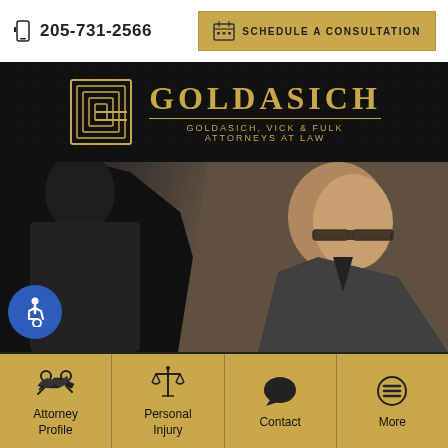205-731-2566
SCHEDULE A CONSULTATION
[Figure (logo): Goldasich law firm logo with geometric G symbol and firm name GOLDASICH, VICK & FULK ATTORNEYS AT LAW in gold on dark background]
[Figure (photo): Two attorneys in dark suits, one facing away, one side profile wearing glasses, in an office or courtroom setting]
[Figure (infographic): Accessibility icon (wheelchair symbol) in white on blue circle]
Attorney Profile
Personal Injury
Contact
More